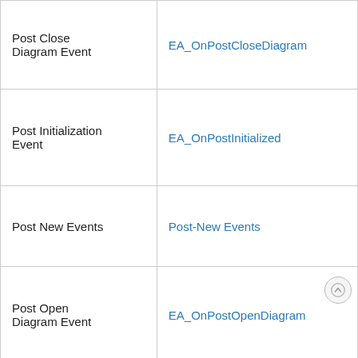| Post Close Diagram Event | EA_OnPostCloseDiagram |
| Post Initialization Event | EA_OnPostInitialized |
| Post New Events | Post-New Events |
| Post Open Diagram Event | EA_OnPostOpenDiagram |
| Pre-Deletion Events | Pre-Deletion Events |
| Pre-Exit Instance | EA_OnPreExitInstance |